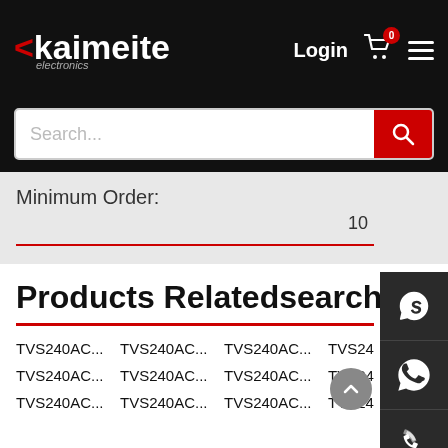[Figure (screenshot): Kaimeite Electronics website header with logo, Login link, cart icon with badge '0', and hamburger menu]
[Figure (screenshot): Search bar with placeholder text 'Search...' and red search button]
Minimum Order:
10
Products Relatedsearch
TVS240AC... TVS240AC... TVS240AC... TVS24
TVS240AC... TVS240AC... TVS240AC... TVS24
TVS240AC... TVS240AC... TVS240AC... TVS24